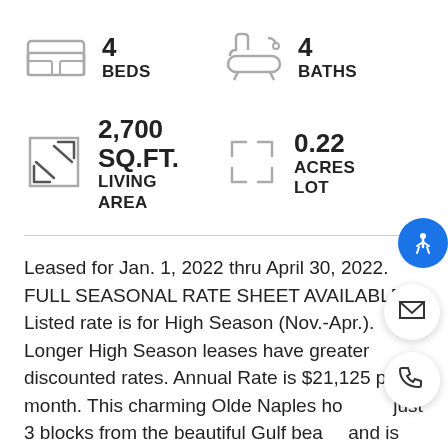4 BEDS
4 BATHS
2,700 SQ.FT. LIVING AREA
0.22 ACRES LOT
Leased for Jan. 1, 2022 thru April 30, 2022. FULL SEASONAL RATE SHEET AVAILABLE. Listed rate is for High Season (Nov.-Apr.). Longer High Season leases have greater discounted rates. Annual Rate is $21,125 per month. This charming Olde Naples home is just 3 blocks from the beautiful Gulf beach and is ready for a great tenant! Very fresh,